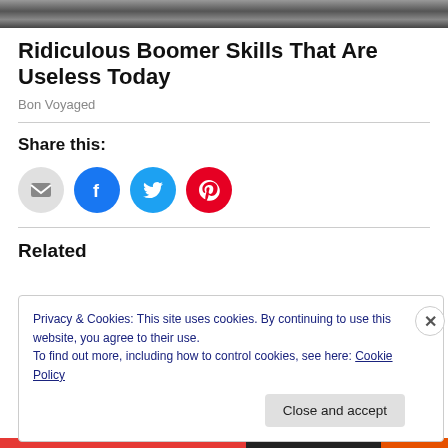[Figure (photo): Cropped photo strip at top of page, black and white or muted tones]
Ridiculous Boomer Skills That Are Useless Today
Bon Voyaged
Share this:
[Figure (infographic): Social share icons: email (grey), Facebook (blue), Twitter (cyan), Pinterest (red)]
Related
Privacy & Cookies: This site uses cookies. By continuing to use this website, you agree to their use.
To find out more, including how to control cookies, see here: Cookie Policy